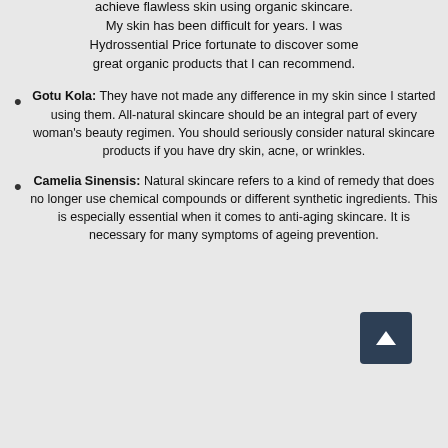achieve flawless skin using organic skincare. My skin has been difficult for years. I was Hydrossential Price fortunate to discover some great organic products that I can recommend.
Gotu Kola: They have not made any difference in my skin since I started using them. All-natural skincare should be an integral part of every woman's beauty regimen. You should seriously consider natural skincare products if you have dry skin, acne, or wrinkles.
Camelia Sinensis: Natural skincare refers to a kind of remedy that does no longer use chemical compounds or different synthetic ingredients. This is especially essential when it comes to anti-aging skincare. It is necessary for many symptoms of ageing prevention.